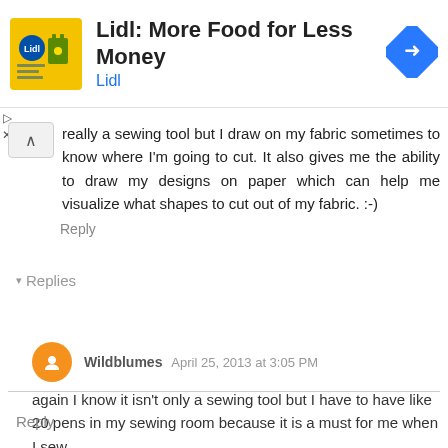[Figure (other): Lidl advertisement banner with logo image, text 'Lidl: More Food for Less Money', subtitle 'Lidl', and a blue navigation arrow icon]
really a sewing tool but I draw on my fabric sometimes to know where I'm going to cut. It also gives me the ability to draw my designs on paper which can help me visualize what shapes to cut out of my fabric. :-)
Reply
▾ Replies
Wildblumes April 25, 2013 at 3:05 PM
again I know it isn't only a sewing tool but I have to have like 20 pens in my sewing room because it is a must for me when I sew.
Reply